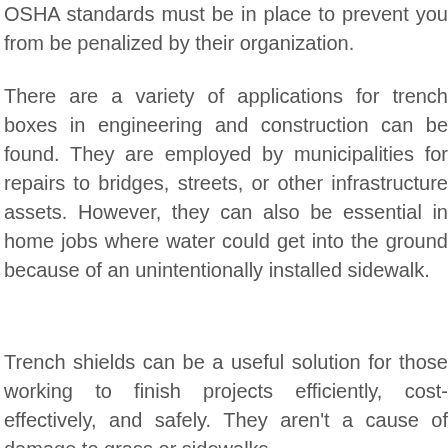OSHA standards must be in place to prevent you from be penalized by their organization.
There are a variety of applications for trench boxes in engineering and construction can be found. They are employed by municipalities for repairs to bridges, streets, or other infrastructure assets. However, they can also be essential in home jobs where water could get into the ground because of an unintentionally installed sidewalk.
Trench shields can be a useful solution for those working to finish projects efficiently, cost-effectively, and safely. They aren't a cause of damage to grass or sidewalks